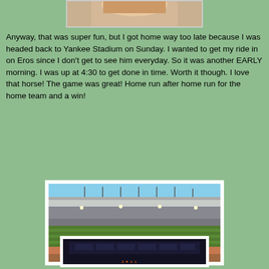[Figure (photo): Partial photo of a person, cropped at top of page]
Anyway, that was super fun, but I got home way too late because I was headed back to Yankee Stadium on Sunday. I wanted to get my ride in on Eros since I don't get to see him everyday. So it was another EARLY morning. I was up at 4:30 to get done in time. Worth it though. I love that horse! The game was great! Home run after home run for the home team and a win!
[Figure (photo): Photo of Yankee Stadium interior showing the field, outfield grass, and stadium seating from field level]
[Figure (photo): Partial photo at bottom of page showing stadium scoreboard area, partially cut off]